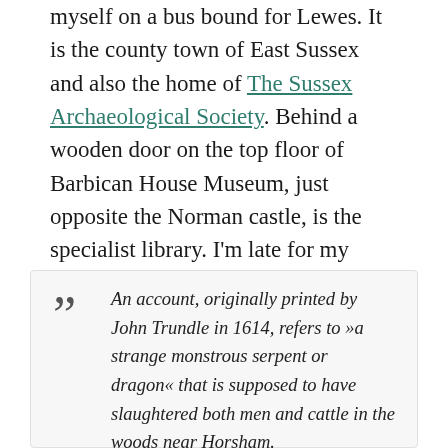myself on a bus bound for Lewes. It is the county town of East Sussex and also the home of The Sussex Archaeological Society. Behind a wooden door on the top floor of Barbican House Museum, just opposite the Norman castle, is the specialist library. I'm late for my appointment, but two volunteers are kindly waiting for me with a pile of books about the local dragon legends of the area.
An account, originally printed by John Trundle in 1614, refers to »a strange monstrous serpent or dragon« that is supposed to have slaughtered both men and cattle in the woods near Horsham.